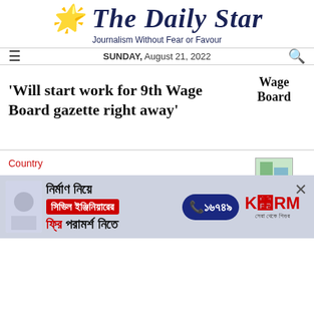The Daily Star
Journalism Without Fear or Favour
SUNDAY, August 21, 2022
'Will start work for 9th Wage Board gazette right away'
Country
NOAB files petition with SC praying it to vacate its earlier order
[Figure (other): Advertisement banner in Bengali for KSRM civil engineering consultation, phone number 16749]
Wage Board
Bangladesh Supreme Court